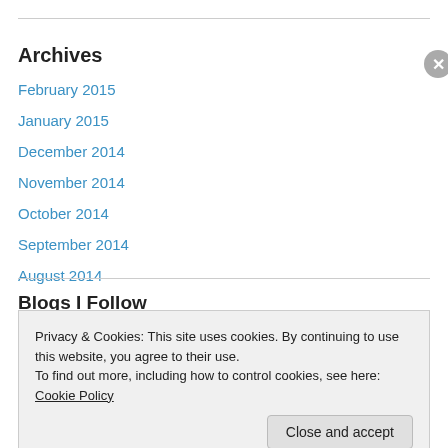Archives
February 2015
January 2015
December 2014
November 2014
October 2014
September 2014
August 2014
Blogs I Follow
Privacy & Cookies: This site uses cookies. By continuing to use this website, you agree to their use.
To find out more, including how to control cookies, see here: Cookie Policy
Close and accept